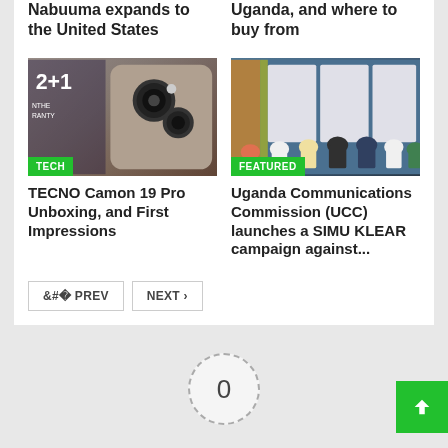Nabuuma expands to the United States
Uganda, and where to buy from
[Figure (photo): Back of a TECNO Camon 19 Pro smartphone showing dual camera setup with pink/red lighting, with '2+1' promotion banner visible]
TECNO Camon 19 Pro Unboxing, and First Impressions
[Figure (photo): Group of people standing in front of UCC SIMU KLEAR campaign banners and flags]
Uganda Communications Commission (UCC) launches a SIMU KLEAR campaign against...
PREV
NEXT
0